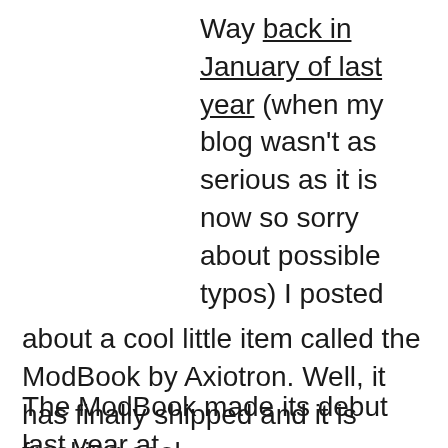Way back in January of last year (when my blog wasn't as serious as it is now so sorry about possible typos) I posted about a cool little item called the ModBook by Axiotron. Well, it has finally shipped and it is freaking cool.
The ModBook made its debut last year at